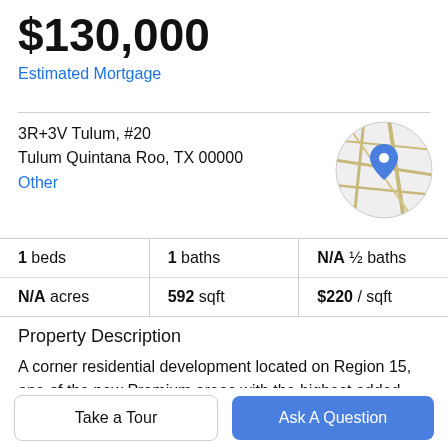$130,000
Estimated Mortgage
3R+3V Tulum, #20
Tulum Quintana Roo, TX 00000
Other
[Figure (map): Circular map thumbnail with a blue location pin marker on road map background]
| 1 beds | 1 baths | N/A ½ baths |
| N/A acres | 592 sqft | $220 / sqft |
Property Description
A corner residential development located on Region 15, one of the new Premium areas with the highest added value in Tulum. due to its proximity to the beach. easy
Take a Tour
Ask A Question